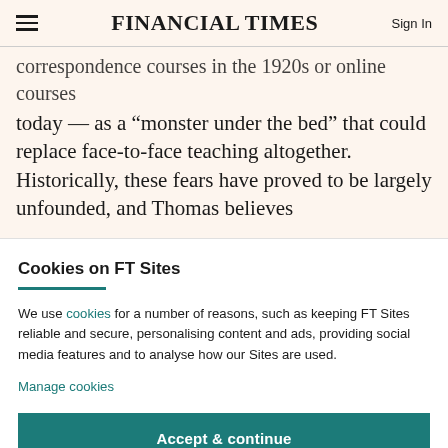FINANCIAL TIMES
correspondence courses in the 1920s or online courses today — as a “monster under the bed” that could replace face-to-face teaching altogether. Historically, these fears have proved to be largely unfounded, and Thomas believes
Cookies on FT Sites
We use cookies for a number of reasons, such as keeping FT Sites reliable and secure, personalising content and ads, providing social media features and to analyse how our Sites are used.
Manage cookies
Accept & continue